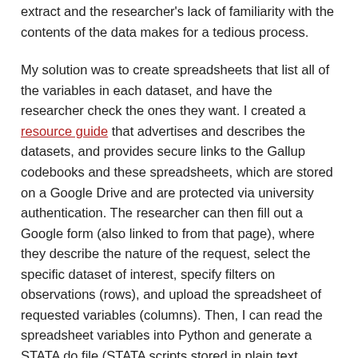extract and the researcher's lack of familiarity with the contents of the data makes for a tedious process.
My solution was to create spreadsheets that list all of the variables in each dataset, and have the researcher check the ones they want. I created a resource guide that advertises and describes the datasets, and provides secure links to the Gallup codebooks and these spreadsheets, which are stored on a Google Drive and are protected via university authentication. The researcher can then fill out a Google form (also linked to from that page), where they describe the nature of the request, select the specific dataset of interest, specify filters on observations (rows), and upload the spreadsheet of requested variables (columns). Then, I can read the spreadsheet variables into Python and generate a STATA do file (STATA scripts stored in plain text format), to create the desired extract which I can share with the researcher.
Create List of STATA Variables in Excel Spreadsheet